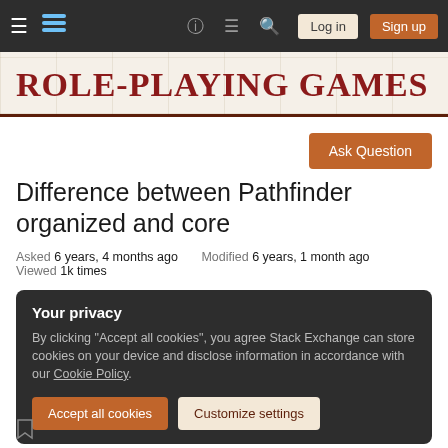Role-Playing Games Stack Exchange — Navigation bar with hamburger, logo, help, chat, search, Log in, Sign up
[Figure (screenshot): Role-Playing Games Stack Exchange site header banner with red serif text on parchment background]
Ask Question
Difference between Pathfinder organized and core
Asked 6 years, 4 months ago   Modified 6 years, 1 month ago   Viewed 1k times
Your privacy
By clicking "Accept all cookies", you agree Stack Exchange can store cookies on your device and disclose information in accordance with our Cookie Policy.
Accept all cookies   Customize settings